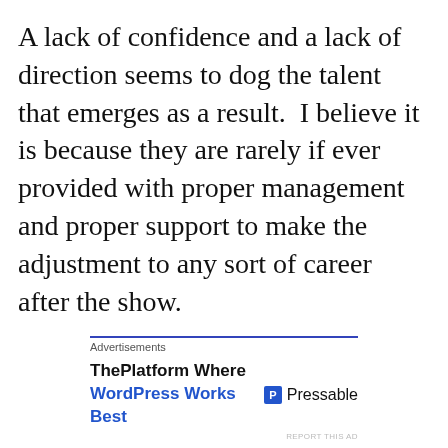A lack of confidence and a lack of direction seems to dog the talent that emerges as a result.  I believe it is because they are rarely if ever provided with proper management and proper support to make the adjustment to any sort of career after the show.
[Figure (other): Advertisement banner for ThePlatform Where WordPress Works Best and Pressable]
A recent OFCOM review of the way Reality TV talent is treated focuses on the psychological support that should be in place before, during and after a show. This is all well and good except that much of that support has been cheapened because, report after report...